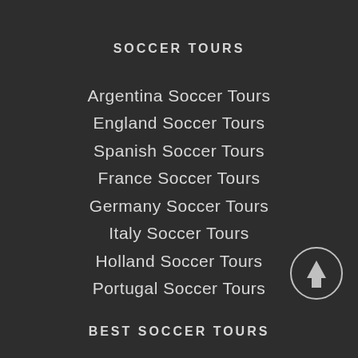SOCCER TOURS
Argentina Soccer Tours
England Soccer Tours
Spanish Soccer Tours
France Soccer Tours
Germany Soccer Tours
Italy Soccer Tours
Holland Soccer Tours
Portugal Soccer Tours
[Figure (illustration): Circular scroll-to-top button with upward arrow]
BEST SOCCER TOURS